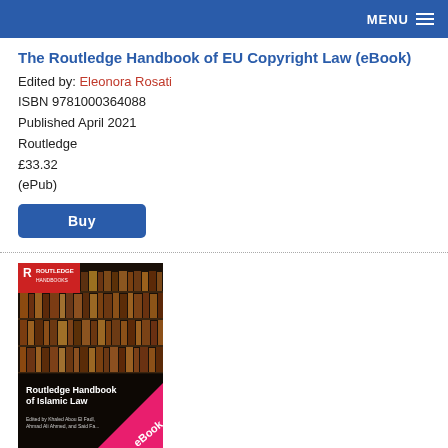MENU
The Routledge Handbook of EU Copyright Law (eBook)
Edited by: Eleonora Rosati
ISBN 9781000364088
Published April 2021
Routledge
£33.32
(ePub)
Buy
[Figure (photo): Book cover of Routledge Handbook of Islamic Law (eBook) showing library shelves with books and a pink eBook banner]
Routledge Handbook of Islamic Law (eBook)
Khaled Abou El Fadl, Hossein Modarressi